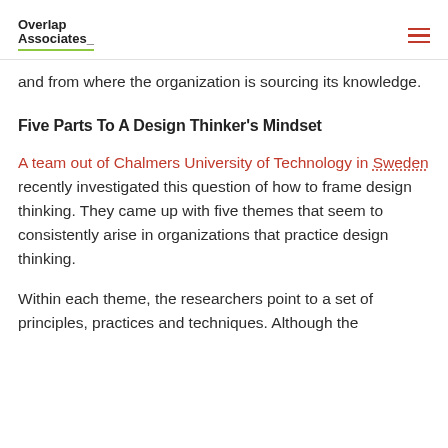Overlap Associates
and from where the organization is sourcing its knowledge.
Five Parts To A Design Thinker's Mindset
A team out of Chalmers University of Technology in Sweden recently investigated this question of how to frame design thinking. They came up with five themes that seem to consistently arise in organizations that practice design thinking.
Within each theme, the researchers point to a set of principles, practices and techniques. Although the